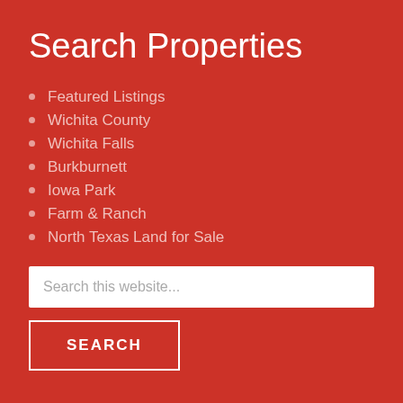Search Properties
Featured Listings
Wichita County
Wichita Falls
Burkburnett
Iowa Park
Farm & Ranch
North Texas Land for Sale
Search this website...
SEARCH